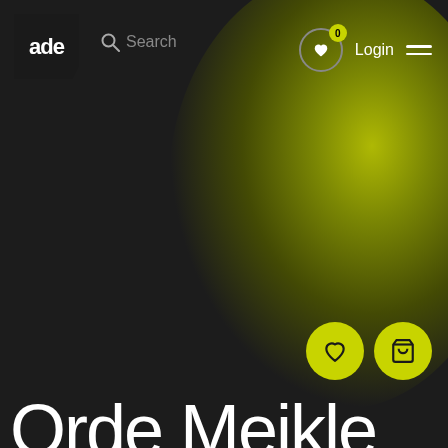[Figure (screenshot): ADE website screenshot with dark background, yellow-green radial glow in upper right, navigation bar with logo, search, wishlist, login, and menu icon, two yellow circular FAB buttons (heart and cart) in lower right, and large white text 'Orde Meikle' partially visible at bottom]
ade | Search | 0 | Login
Orde Meikle